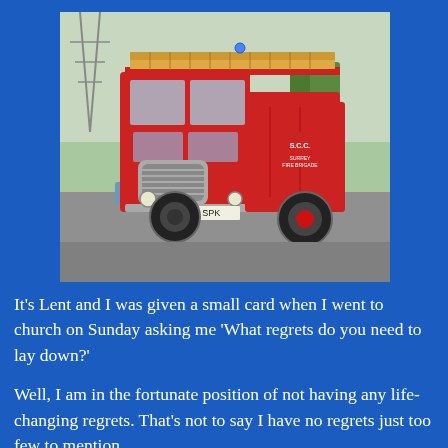[Figure (photo): A vintage red fire engine (registration plate 97 SPK) from Surrey Fire Brigade, photographed in a car park or road setting with trees and a pylon visible in the background. The truck is classic 1950s/60s British style with chrome grille and ladders on top.]
It's Lent and I was given a small card when I went to church on Sunday asking me 'What regrets do you need to lay down?'
Well, I am in the fortunate position of not having any life-changing regrets. That's not to say I have no regrets just too few to mention.